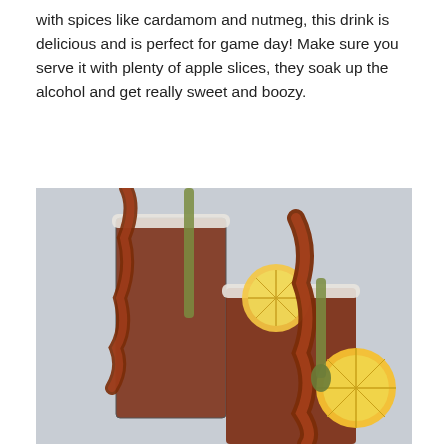with spices like cardamom and nutmeg, this drink is delicious and is perfect for game day! Make sure you serve it with plenty of apple slices, they soak up the alcohol and get really sweet and boozy.
[Figure (photo): Two tall cocktail glasses with salt-rimmed edges, filled with a reddish-brown drink, garnished with strips of crispy bacon, lemon/orange slices, and what appears to be pickled vegetables, set against a light grey background.]